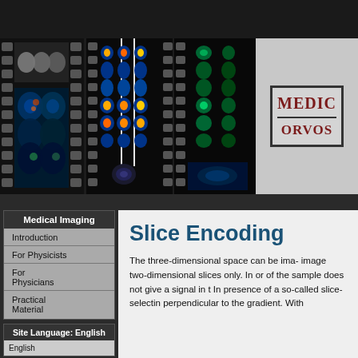[Figure (screenshot): Medical imaging film strip header showing MRI and PET scan images with a title box partially visible on the right showing 'MEDIC' and 'ORVOS' (truncated text in dark red on grey background)]
Medical Imaging
Introduction
For Physicists
For Physicians
Practical Material
Site Language: English
English
Slice Encoding
The three-dimensional space can be ima- image two-dimensional slices only. In or of the sample does not give a signal in t In presence of a so-called slice-selectin perpendicular to the gradient. With